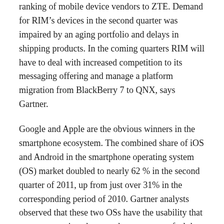ranking of mobile device vendors to ZTE. Demand for RIM’s devices in the second quarter was impaired by an aging portfolio and delays in shipping products. In the coming quarters RIM will have to deal with increased competition to its messaging offering and manage a platform migration from BlackBerry 7 to QNX, says Gartner.
Google and Apple are the obvious winners in the smartphone ecosystem. The combined share of iOS and Android in the smartphone operating system (OS) market doubled to nearly 62 % in the second quarter of 2011, up from just over 31% in the corresponding period of 2010. Gartner analysts observed that these two OSs have the usability that consumers enjoy, the apps that consumers feel they need, and increasingly a portfolio of services delivered by the platform owner as well.
“We expect manufacturers and distributors to remain cautious